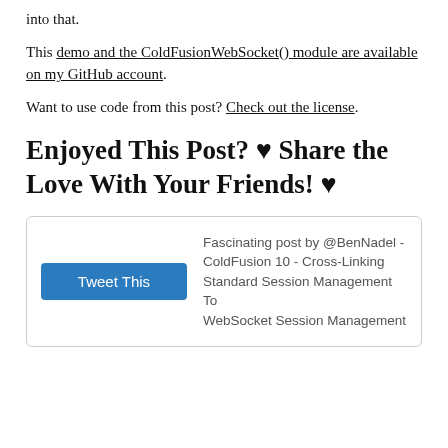into that.
This demo and the ColdFusionWebSocket() module are available on my GitHub account.
Want to use code from this post? Check out the license.
Enjoyed This Post? ♥ Share the Love With Your Friends! ♥
Tweet This | Fascinating post by @BenNadel - ColdFusion 10 - Cross-Linking Standard Session Management To WebSocket Session Management